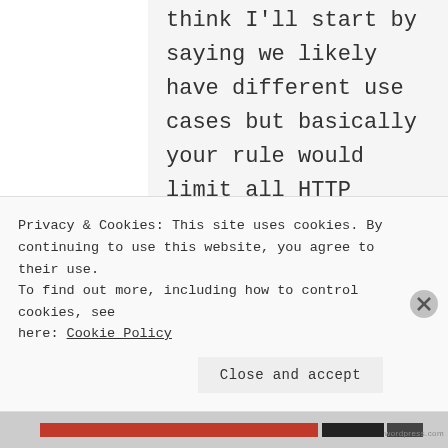think I'll start by saying we likely have different use cases but basically your rule would limit all HTTP traffic, while I just want to limit Steam's port 80 download traffic
Privacy & Cookies: This site uses cookies. By continuing to use this website, you agree to their use. To find out more, including how to control cookies, see here: Cookie Policy
Close and accept